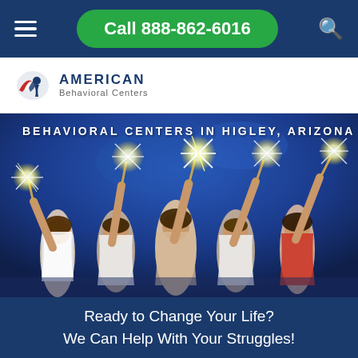Call 888-862-6016
[Figure (logo): American Behavioral Centers logo with eagle/wing icon and text 'AMERICAN Behavioral Centers']
[Figure (photo): Group of five young adults holding sparklers against a blue night sky background]
BEHAVIORAL CENTERS IN HIGLEY, ARIZONA
Ready to Change Your Life? We Can Help With Your Struggles!